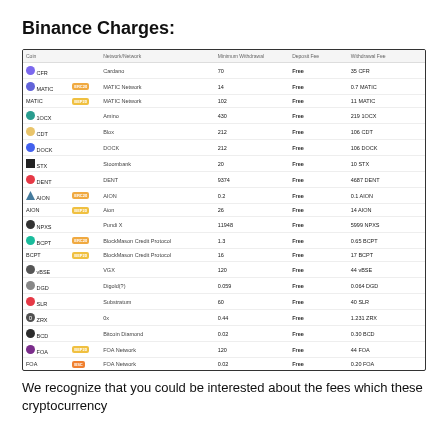Binance Charges:
| Coin |  | Network/Network | Minimum Withdrawal | Deposit Fee | Withdrawal Fee |
| --- | --- | --- | --- | --- | --- |
| CFR |  | Cardano | 70 | Free | 35 CFR |
| MATIC | ERC20 | MATIC Network | 14 | Free | 0.7 MATIC |
| MATIC | BEP20 | MATIC Network | 102 | Free | 11 MATIC |
| 1OCX |  | Amino | 430 | Free | 219 1OCX |
| CDT |  | Blox | 212 | Free | 106 CDT |
| DOCK |  | DOCK | 212 | Free | 106 DOCK |
| STX |  | Stoombank | 20 | Free | 10 STX |
| DENT |  | DENT | 9374 | Free | 4687 DENT |
| AION | ERC20 | AION | 0.2 | Free | 0.1 AION |
| AION | BEP20 | Aion | 26 | Free | 14 AION |
| NPXS |  | Pundi X | 11948 | Free | 5999 NPXS |
| BCPT | ERC20 | BlockMason Credit Protocol | 1.3 | Free | 0.65 BCPT |
| BCPT | BEP20 | BlockMason Credit Protocol | 16 | Free | 17 BCPT |
| vBSE |  | VGX | 120 | Free | 44 vBSE |
| DGD |  | Digold(?) | 0.059 | Free | 0.064 DGD |
| Solar |  | Substratum | 60 | Free | 40 SLR |
| ZRX |  | 0x | 0.44 | Free | 1.231 ZRX |
| BCD |  | Bitcoin Diamond | 0.02 | Free | 0.30 BCD |
| FOA | BEP20 | FOA Network | 120 | Free | 44 FOA |
| FOA | BSC | FOA Network | 0.02 | Free | 0.20 FOA |
We recognize that you could be interested about the fees which these cryptocurrency